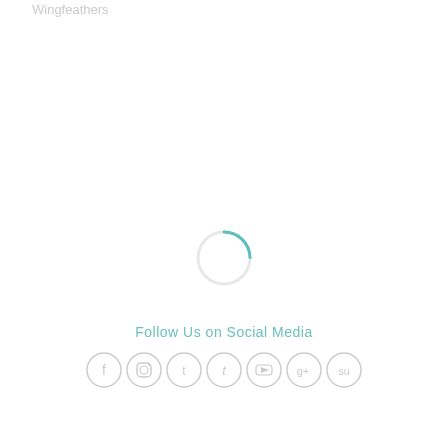Wingfeathers
[Figure (other): Loading spinner - a circular arc in teal/cyan on a light gray circle outline, indicating a page loading state]
Follow Us on Social Media
[Figure (other): Row of 7 social media icon circles in light gray: Facebook, Instagram, Twitter/X, Tumblr, YouTube, Google+, StumbleUpon or similar platforms]